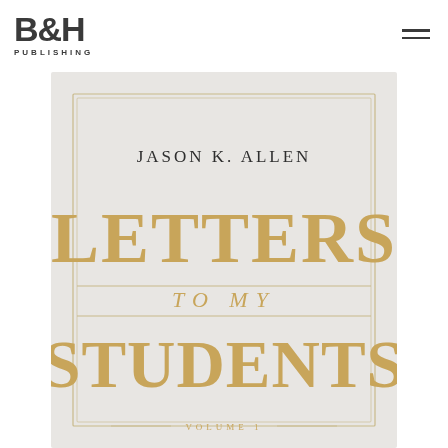[Figure (logo): B&H Publishing logo with large bold B&H letters and PUBLISHING text below]
[Figure (photo): Book cover of 'Letters to My Students Volume 1' by Jason K. Allen, published by B&H Publishing. Light gray/white cover with gold lettering. Author name in small caps at top, large bold gold title 'LETTERS' then 'TO MY' in smaller italic gold, then 'STUDENTS' in large bold gold. 'VOLUME 1' at bottom with decorative lines.]